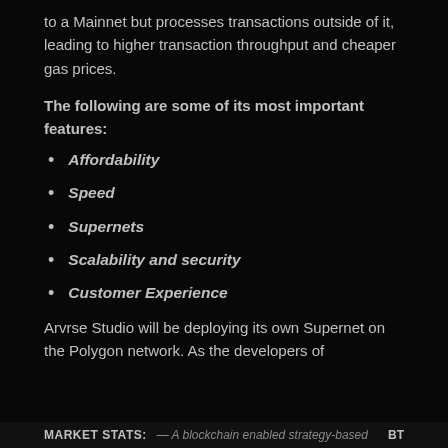to a Mainnet but processes transactions outside of it, leading to higher transaction throughput and cheaper gas prices.
The following are some of its most important features:
Affordability
Speed
Supernets
Scalability and security
Customer Experience
Arvrse Studio will be deploying its own Supernet on the Polygon network. As the developers of
MARKET STATS: — A blockchain enabled strategy-based BT